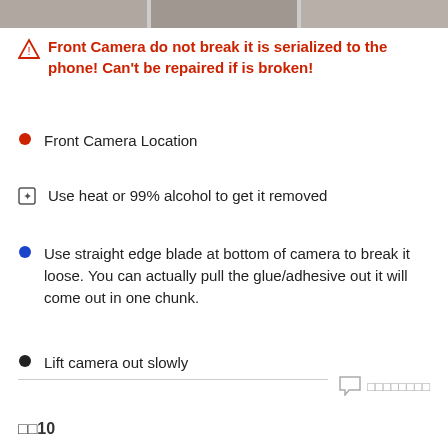[Figure (photo): Strip of thumbnail images at the top of the page showing phone repair steps]
Front Camera do not break it is serialized to the phone! Can't be repaired if is broken!
Front Camera Location
Use heat or 99% alcohol to get it removed
Use straight edge blade at bottom of camera to break it loose. You can actually pull the glue/adhesive out it will come out in one chunk.
Lift camera out slowly
步驟10